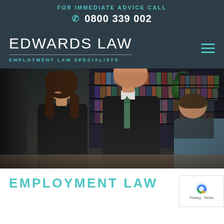FOR IMMEDIATE ADVICE CALL
0800 339 002
EDWARDS LAW
EMPLOYMENT LAW SPECIALISTS
[Figure (photo): Photo of two lawyers (a woman with glasses and a man in a suit with green tie) seated at a meeting table in a law office with bookshelves in the background, speaking with a client whose back is to the camera.]
EMPLOYMENT LAW